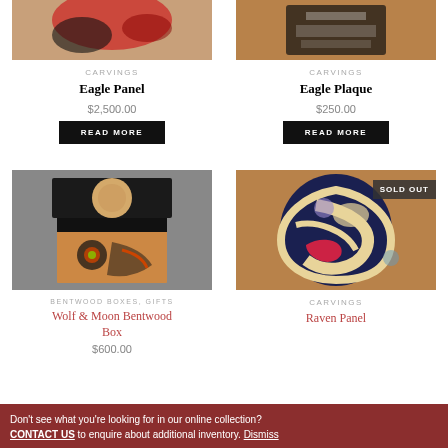[Figure (photo): Top portion of Eagle Panel carving artwork photo (red and black Indigenous design)]
CARVINGS
Eagle Panel
$2,500.00
READ MORE
[Figure (photo): Top portion of Eagle Plaque carving artwork photo (black and wood Indigenous design)]
CARVINGS
Eagle Plaque
$250.00
READ MORE
[Figure (photo): Wolf & Moon Bentwood Box - black wooden box with Indigenous art painting]
BENTWOOD BOXES, GIFTS
Wolf & Moon Bentwood Box
$600.00
[Figure (photo): Raven Panel circular carving in dark navy blue and cream with red accents, marked SOLD OUT]
SOLD OUT
CARVINGS
Raven Panel
Don't see what you're looking for in our online collection? CONTACT US to enquire about additional inventory. Dismiss